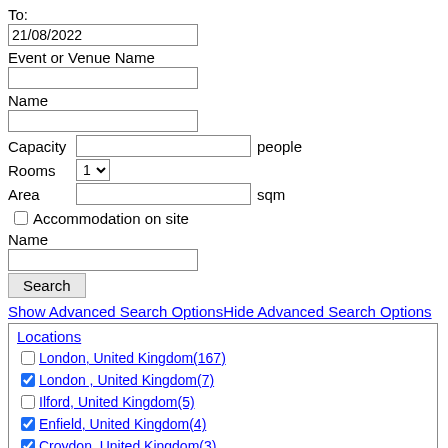To:
21/08/2022
Event or Venue Name
Name
Capacity   people
Rooms  1
Area   sqm
Accommodation on site
Name
Search
Show Advanced Search OptionsHide Advanced Search Options
Locations
London, United Kingdom(167)
London , United Kingdom(7)
Ilford, United Kingdom(5)
Enfield, United Kingdom(4)
Croydon, United Kingdom(3)
tower hamlets , United Kingdom(2)
Hounslow, United Kingdom(2)